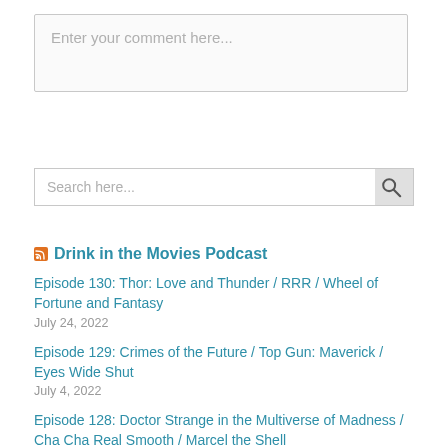Enter your comment here...
Search here...
Drink in the Movies Podcast
Episode 130: Thor: Love and Thunder / RRR / Wheel of Fortune and Fantasy
July 24, 2022
Episode 129: Crimes of the Future / Top Gun: Maverick / Eyes Wide Shut
July 4, 2022
Episode 128: Doctor Strange in the Multiverse of Madness / Cha Cha Real Smooth / Marcel the Shell